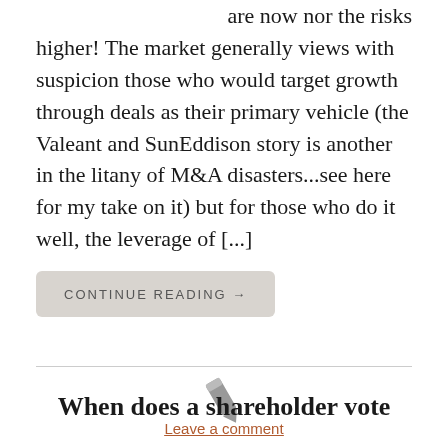are now nor the risks higher! The market generally views with suspicion those who would target growth through deals as their primary vehicle (the Valeant and SunEddison story is another in the litany of M&A disasters...see here for my take on it) but for those who do it well, the leverage of [...]
CONTINUE READING →
[Figure (illustration): Pencil/edit icon in gray]
Leave a comment
When does a shareholder vote